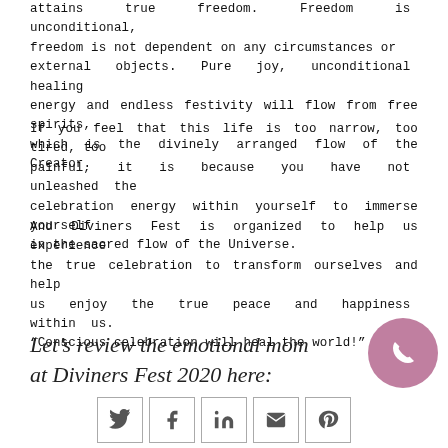attains true freedom. Freedom is unconditional, freedom is not dependent on any circumstances or external objects. Pure joy, unconditional healing energy and endless festivity will flow from free spirits, which is the divinely arranged flow of the Creator.
If you feel that this life is too narrow, too tired, too painful, it is because you have not unleashed the celebration energy within yourself to immerse yourself in the sacred flow of the Universe.
And Diviners Fest is organized to help us experience the true celebration to transform ourselves and help us enjoy the true peace and happiness within us. "Conscious celebration will heal the world!"
Let’s review the emotional mom at Diviners Fest 2020 here:
[Figure (other): Phone/contact button: mauve/purple circular button with white phone handset icon]